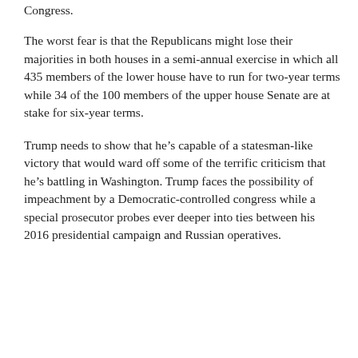Congress.
The worst fear is that the Republicans might lose their majorities in both houses in a semi-annual exercise in which all 435 members of the lower house have to run for two-year terms while 34 of the 100 members of the upper house Senate are at stake for six-year terms.
Trump needs to show that he’s capable of a statesman-like victory that would ward off some of the terrific criticism that he’s battling in Washington. Trump faces the possibility of impeachment by a Democratic-controlled congress while a special prosecutor probes ever deeper into ties between his 2016 presidential campaign and Russian operatives.